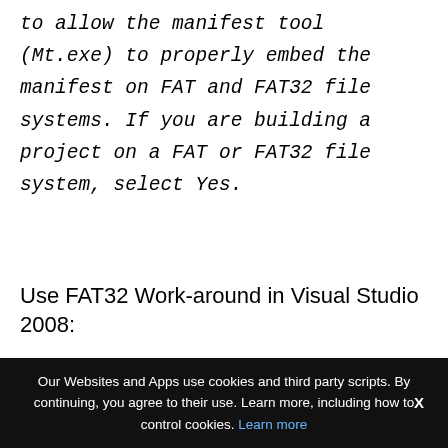to allow the manifest tool (Mt.exe) to properly embed the manifest on FAT and FAT32 file systems. If you are building a project on a FAT or FAT32 file system, select Yes.
Use FAT32 Work-around in Visual Studio 2008:
[Figure (screenshot): Screenshot of a dialog with tabs: General and Assembly Identity]
Our Websites and Apps use cookies and third party scripts. By continuing, you agree to their use. Learn more, including how to control cookies. Learn more